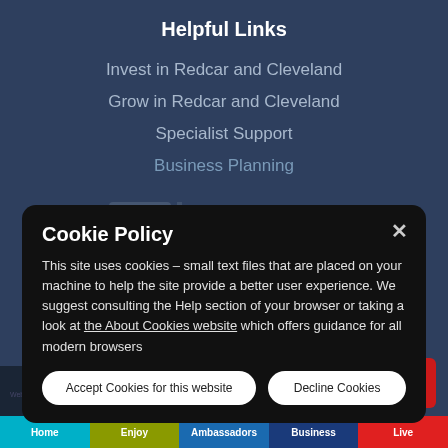Helpful Links
Invest in Redcar and Cleveland
Grow in Redcar and Cleveland
Specialist Support
Business Planning
[Figure (logo): SSI Task Force Project logo watermark in background]
Cookie Policy
This site uses cookies – small text files that are placed on your machine to help the site provide a better user experience. We suggest consulting the Help section of your browser or taking a look at the About Cookies website which offers guidance for all modern browsers
Home  Enjoy  Ambassadors  Business  Live